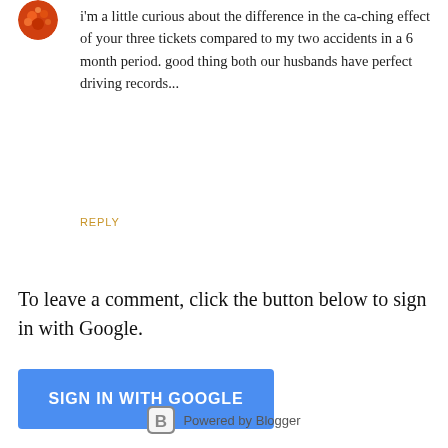[Figure (photo): Circular avatar image of a user, appears to be a decorative/food themed image in orange/red tones]
i'm a little curious about the difference in the ca-ching effect of your three tickets compared to my two accidents in a 6 month period. good thing both our husbands have perfect driving records...
REPLY
To leave a comment, click the button below to sign in with Google.
SIGN IN WITH GOOGLE
Powered by Blogger